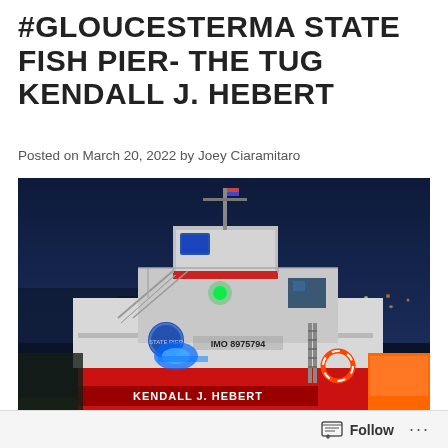#GLOUCESTERMA STATE FISH PIER- THE TUG KENDALL J. HEBERT
Posted on March 20, 2022 by Joey Ciaramitaro
[Figure (photo): Night photograph of the tugboat Kendall J. Hebert (IMO 8975794) docked at Gloucester MA State Fish Pier. The tug is illuminated with blue and green lights against a dark blue night sky, with harbor lights visible in the background. The vessel name KENDALL J. HEBERT is visible on the hull.]
Follow